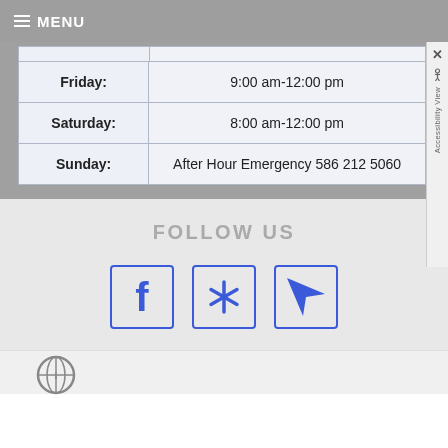≡ MENU
| Day | Hours |
| --- | --- |
| Friday: | 9:00 am-12:00 pm |
| Saturday: | 8:00 am-12:00 pm |
| Sunday: | After Hour Emergency 586 212 5060 |
FOLLOW US
[Figure (logo): Facebook icon button with blue border]
[Figure (logo): Yelp icon button with blue border]
[Figure (logo): Navigation/location icon button with blue border]
[Figure (logo): Partial circular logo at bottom of page]